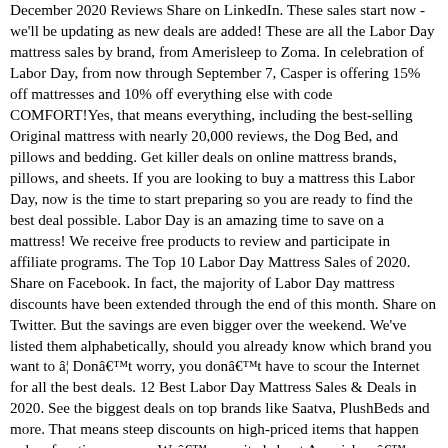December 2020 Reviews Share on LinkedIn. These sales start now - we'll be updating as new deals are added! These are all the Labor Day mattress sales by brand, from Amerisleep to Zoma. In celebration of Labor Day, from now through September 7, Casper is offering 15% off mattresses and 10% off everything else with code COMFORT!Yes, that means everything, including the best-selling Original mattress with nearly 20,000 reviews, the Dog Bed, and pillows and bedding. Get killer deals on online mattress brands, pillows, and sheets. If you are looking to buy a mattress this Labor Day, now is the time to start preparing so you are ready to find the best deal possible. Labor Day is an amazing time to save on a mattress! We receive free products to review and participate in affiliate programs. The Top 10 Labor Day Mattress Sales of 2020. Share on Facebook. In fact, the majority of Labor Day mattress discounts have been extended through the end of this month. Share on Twitter. But the savings are even bigger over the weekend. We've listed them alphabetically, should you already know which brand you want to â¦ Donât worry, you donât have to scour the Internet for all the best deals. 12 Best Labor Day Mattress Sales & Deals in 2020. See the biggest deals on top brands like Saatva, PlushBeds and more. That means steep discounts on high-priced items that happen only a few times a year. Weâre excited about Amerisleepâs 2020 Labor Day sales, as theyâre offering some of the best discounts on their products yet. Keep scrolling for the 25 best mattress sales on the web right now for Labor Day 2020. Get accessories worth $399 â including a mattress protector, sheet set and pillows â with every mattress order this Labor Day weekend. Good sleep is vital for overall well-being, and so many brands extended the best Labor Day mattress sales of 2020. Get top picks from leading online firms for